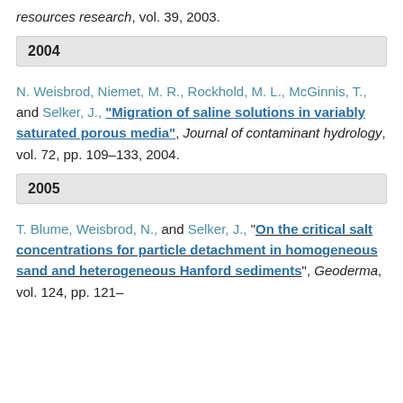resources research, vol. 39, 2003.
2004
N. Weisbrod, Niemet, M. R., Rockhold, M. L., McGinnis, T., and Selker, J., "Migration of saline solutions in variably saturated porous media", Journal of contaminant hydrology, vol. 72, pp. 109–133, 2004.
2005
T. Blume, Weisbrod, N., and Selker, J., "On the critical salt concentrations for particle detachment in homogeneous sand and heterogeneous Hanford sediments", Geoderma, vol. 124, pp. 121–